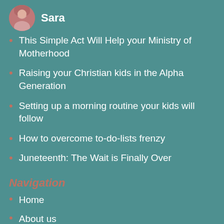Sara
This Simple Act Will Help your Ministry of Motherhood
Raising your Christian kids in the Alpha Generation
Setting up a morning routine your kids will follow
How to overcome to-do-lists frenzy
Juneteenth: The Wait is Finally Over
Navigation
Home
About us
Shop